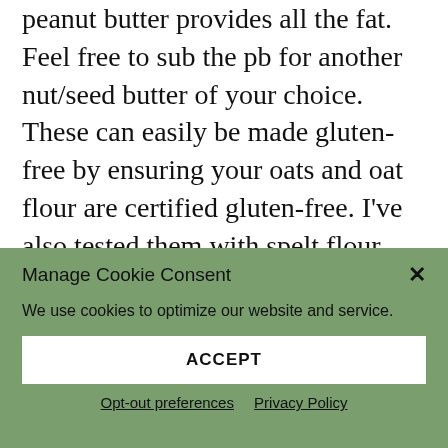peanut butter provides all the fat. Feel free to sub the pb for another nut/seed butter of your choice. These can easily be made gluten-free by ensuring your oats and oat flour are certified gluten-free. I've also tested them with spelt flour, and all purpose and whole wheat would probably also work. However I think oat flour produces the best taste and texture.
[Figure (photo): Partial view of a food photo strip, partially obscured by cookie consent dialog]
Manage Cookie Consent
We use cookies to optimize our website and service.
ACCEPT
Opt-out preferences   Privacy Policy